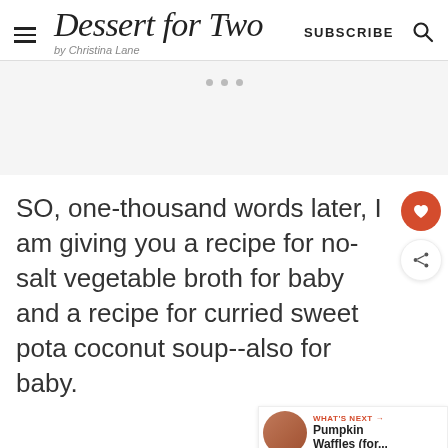Dessert for Two by Christina Lane — SUBSCRIBE
[Figure (other): Gray advertisement placeholder area with three small dots]
SO, one-thousand words later, I am giving you a recipe for no-salt vegetable broth for baby and a recipe for curried sweet potato coconut soup--also for baby.
[Figure (photo): Bottom portion of a wooden surface/table photo, partially visible]
[Figure (other): Walgreens advertisement banner: Fall Favorites! BOGO Free Select Vitamins and Supplements]